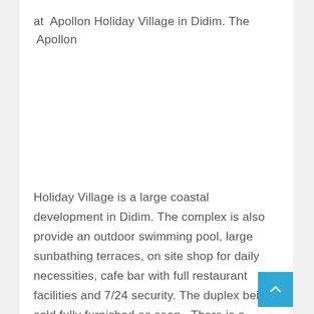at  Apollon Holiday Village in Didim. The  Apollon
Holiday Village is a large coastal development in Didim. The complex is also provide an outdoor swimming pool, large sunbathing terraces, on site shop for daily necessities, cafe bar with full restaurant facilities and 7/24 security. The duplex being sold fully furnished as seen.  There is a